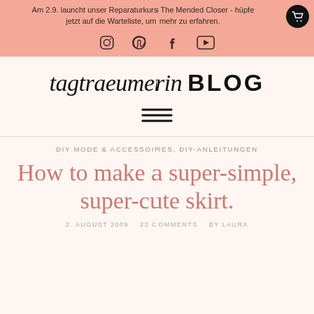Am 2.9. launcht unser Reparaturkurs The Mended Closer - hüpfe jetzt auf die Warteliste, um mehr zu erfahren.
[Figure (illustration): Social media icons for Instagram, Pinterest, Facebook, YouTube on salmon/pink background]
[Figure (logo): tagtraeumerin BLOG logo in script and bold sans-serif lettering]
[Figure (illustration): Hamburger menu icon (three horizontal lines)]
DIY MODE & ACCESSOIRES, DIY-ANLEITUNGEN
How to make a super-simple, super-cute skirt.
2. AUGUST 2009  23 COMMENTS  BY LAURA